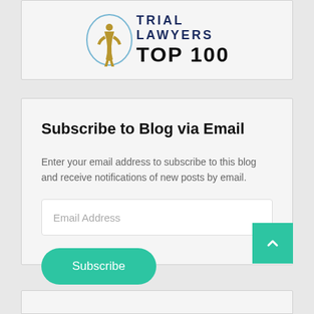[Figure (logo): Trial Lawyers Top 100 badge/logo with an emblem figure on the left and text 'TRIAL LAWYERS TOP 100' on the right]
Subscribe to Blog via Email
Enter your email address to subscribe to this blog and receive notifications of new posts by email.